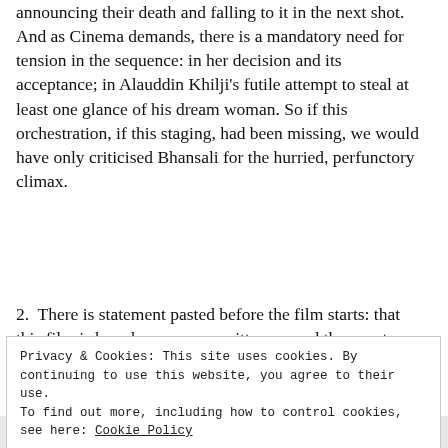announcing their death and falling to it in the next shot. And as Cinema demands, there is a mandatory need for tension in the sequence: in her decision and its acceptance; in Alauddin Khilji's futile attempt to steal at least one glance of his dream woman. So if this orchestration, if this staging, had been missing, we would have only criticised Bhansali for the hurried, perfunctory climax.
2. There is statement pasted before the film starts: that this film is based on a poem written around the events shown. The glorification of sati, of a practice dutifully followed in itihaas, of an event penned down in the poem, therefore can neither be
Privacy & Cookies: This site uses cookies. By continuing to use this website, you agree to their use.
To find out more, including how to control cookies, see here: Cookie Policy
Close and accept
Post on the go.